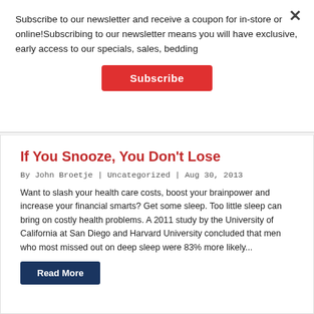Subscribe to our newsletter and receive a coupon for in-store or online!Subscribing to our newsletter means you will have exclusive, early access to our specials, sales, bedding
Subscribe
If You Snooze, You Don't Lose
By John Broetje | Uncategorized | Aug 30, 2013
Want to slash your health care costs, boost your brainpower and increase your financial smarts? Get some sleep. Too little sleep can bring on costly health problems. A 2011 study by the University of California at San Diego and Harvard University concluded that men who most missed out on deep sleep were 83% more likely...
Read More